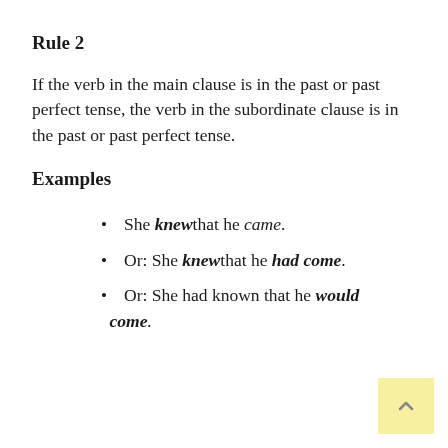Rule 2
If the verb in the main clause is in the past or past perfect tense, the verb in the subordinate clause is in the past or past perfect tense.
Examples
She knew that he came.
Or: She knew that he had come.
Or: She had known that he would come.